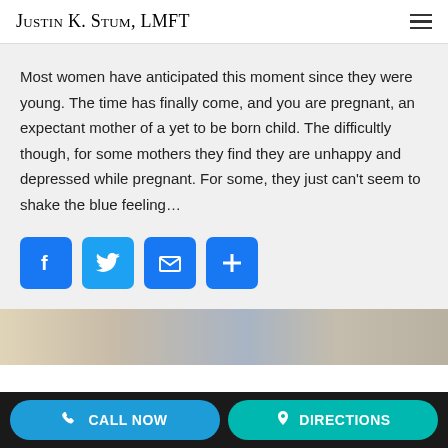Justin K. Stum, LMFT
Most women have anticipated this moment since they were young. The time has finally come, and you are pregnant, an expectant mother of a yet to be born child. The difficultly though, for some mothers they find they are unhappy and depressed while pregnant. For some, they just can't seem to shake the blue feeling…
[Figure (infographic): Row of social sharing buttons: Facebook (f icon), Twitter (bird icon), Mail (envelope icon), Share/Plus (+) icon, all on blue rounded square buttons]
[Figure (photo): Partial view of a photo strip showing what appears to be a medical or pregnancy-related scene]
CALL NOW   DIRECTIONS